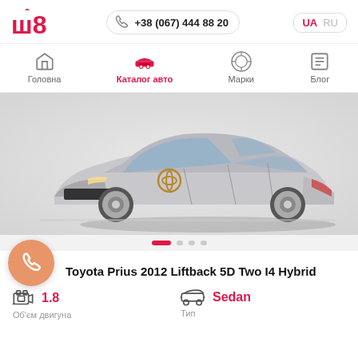w8 | +38 (067) 444 88 20 | UA RU
Головна | Каталог авто | Марки | Блог
[Figure (photo): Toyota Prius 2012 Liftback 5D silver car side view]
Toyota Prius 2012 Liftback 5D Two I4 Hybrid
1.8
Об'єм двигуна
Sedan
Тип